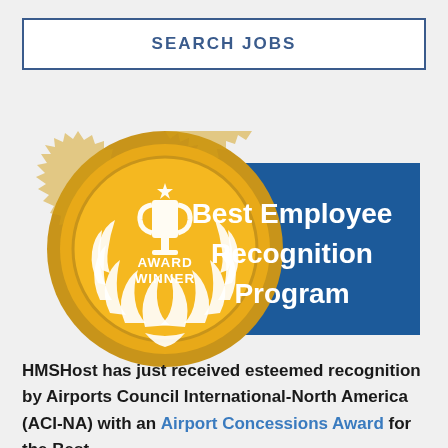SEARCH JOBS
[Figure (illustration): Gold award medal badge with a trophy and laurel wreath, labeled 'AWARD WINNER', next to a blue ribbon banner reading 'Best Employee Recognition Program']
HMSHost has just received esteemed recognition by Airports Council International-North America (ACI-NA) with an Airport Concessions Award for the Best